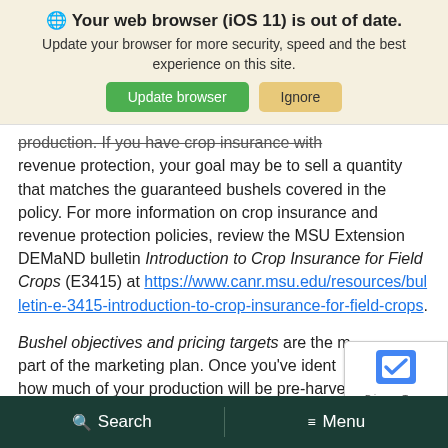[Figure (screenshot): Browser update notification banner with globe icon, bold title 'Your web browser (iOS 11) is out of date.', subtitle text, and two buttons: 'Update browser' (green) and 'Ignore' (yellow)]
production. If you have crop insurance with revenue protection, your goal may be to sell a quantity that matches the guaranteed bushels covered in the policy. For more information on crop insurance and revenue protection policies, review the MSU Extension DEMaND bulletin Introduction to Crop Insurance for Field Crops (E3415) at https://www.canr.msu.edu/resources/bulletin-e-3415-introduction-to-crop-insurance-for-field-crops.
Bushel objectives and pricing targets are the m... part of the marketing plan. Once you've ident... how much of your production will be pre-harvest
[Figure (other): reCAPTCHA badge overlay showing robot/checkbox logo and Privacy - Terms text]
Search   Menu